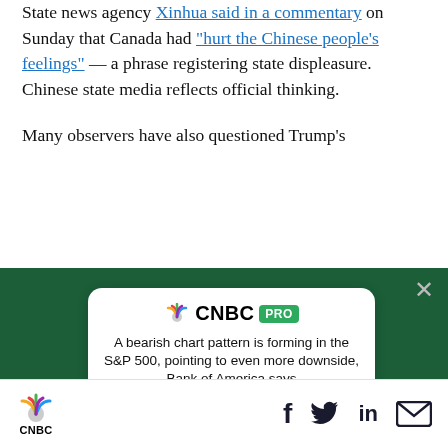State news agency Xinhua said in a commentary on Sunday that Canada had “hurt the Chinese people’s feelings” — a phrase registering state displeasure. Chinese state media reflects official thinking.
Many observers have also questioned Trump’s
[Figure (screenshot): CNBC PRO advertisement overlay on dark green background. Ad card shows CNBC PRO logo, headline 'A bearish chart pattern is forming in the S&P 500, pointing to even more downside, Bank of America says', and a green 'SUBSCRIBE NOW' button. An X close button is in the top right.]
[Figure (logo): CNBC logo (peacock + CNBC wordmark) in the bottom navigation bar, with social media icons (Facebook, Twitter, LinkedIn, Email) on the right.]